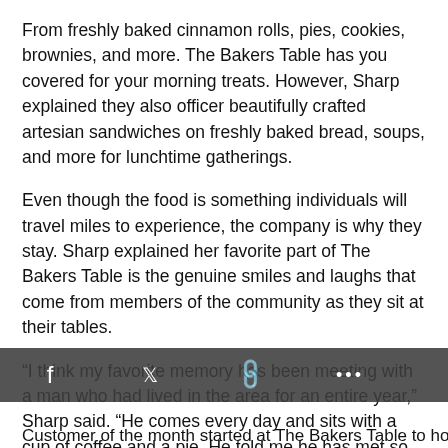From freshly baked cinnamon rolls, pies, cookies, brownies, and more. The Bakers Table has you covered for your morning treats. However, Sharp explained they also officer beautifully crafted artesian sandwiches on freshly baked bread, soups, and more for lunchtime gatherings.
Even though the food is something individuals will travel miles to experience, the company is why they stay. Sharp explained her favorite part of The Bakers Table is the genuine smiles and laughs that come from members of the community as they sit at their tables.
“I think my favorite memory has been meeting with a man who had lived in the area for an entire year,” Sharp said. “He comes every day and sits with a cup of coffee and a pie. He told me he has met so many people sitting at that table. That meant so much that last month, he was our customer of the month.”
Customer of the month started at The Bakers Table to honor